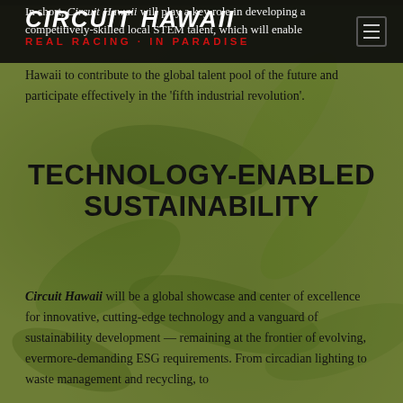Circuit Hawaii | Real Racing · In Paradise
In short, Circuit Hawaii will play a key role in developing a competitively-skilled local STEM talent, which will enable Hawaii to contribute to the global talent pool of the future and participate effectively in the 'fifth industrial revolution'.
TECHNOLOGY-ENABLED SUSTAINABILITY
Circuit Hawaii will be a global showcase and center of excellence for innovative, cutting-edge technology and a vanguard of sustainability development — remaining at the frontier of evolving, evermore-demanding ESG requirements. From circadian lighting to waste management and recycling, to